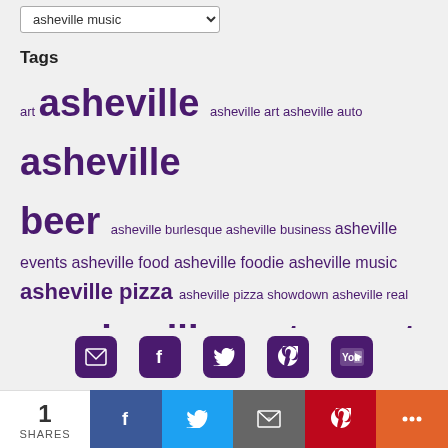asheville music (dropdown)
Tags
art asheville asheville art asheville auto asheville beer asheville burlesque asheville business asheville events asheville food asheville foodie asheville music asheville pizza asheville pizza showdown asheville real estate asheville restaurant asheville restaurants asheville social media beer beer city usa Cindy Walton dessert downtown asheville food foodie g social media hendersonville ignite asheville lunch music North Carolina pizza qr code qr codes restaurant restaurants
[Figure (other): Social sharing icons: email, facebook, twitter, pinterest, youtube]
[Figure (other): Share bar with count: 1 SHARES, Facebook, Twitter, Email, Pinterest, More buttons]